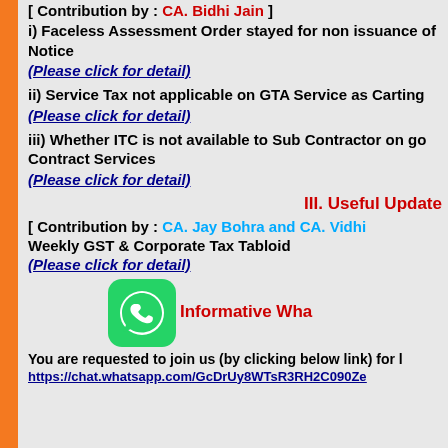[ Contribution by : CA. Bidhi Jain ]
i) Faceless Assessment Order stayed for non issuance of Notice
(Please click for detail)
ii) Service Tax not applicable on GTA Service as Carting
(Please click for detail)
iii) Whether ITC is not available to Sub Contractor on go Contract Services
(Please click for detail)
III. Useful Update
[ Contribution by : CA. Jay Bohra and CA. Vidhi ]
Weekly GST & Corporate Tax Tabloid
(Please click for detail)
[Figure (logo): WhatsApp logo icon in green rounded square]
Informative Wha
You are requested to join us (by clicking below link) for
https://chat.whatsapp.com/GcDrUy8WTsR3RH2C090Ze